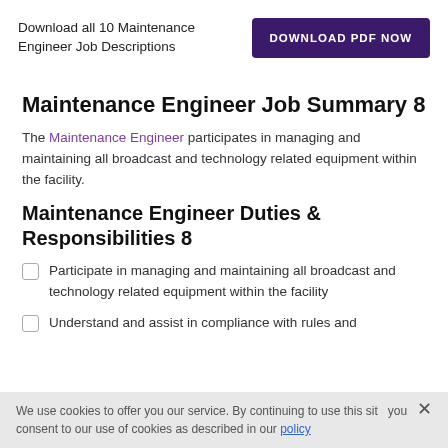Download all 10 Maintenance Engineer Job Descriptions
DOWNLOAD PDF NOW
Maintenance Engineer Job Summary 8
The Maintenance Engineer participates in managing and maintaining all broadcast and technology related equipment within the facility.
Maintenance Engineer Duties & Responsibilities 8
Participate in managing and maintaining all broadcast and technology related equipment within the facility
Understand and assist in compliance with rules and
We use cookies to offer you our service. By continuing to use this site you consent to our use of cookies as described in our policy